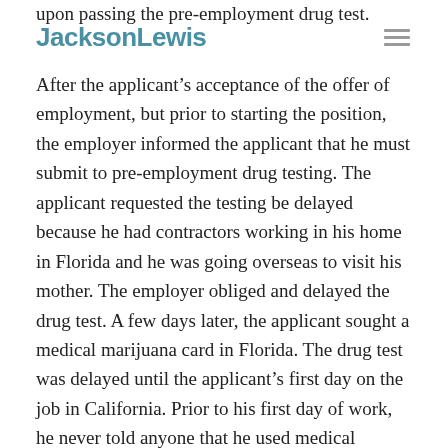upon passing the pre-employment drug test.
JacksonLewis
After the applicant's acceptance of the offer of employment, but prior to starting the position, the employer informed the applicant that he must submit to pre-employment drug testing. The applicant requested the testing be delayed because he had contractors working in his home in Florida and he was going overseas to visit his mother.  The employer obliged and delayed the drug test.  A few days later, the applicant sought a medical marijuana card in Florida.  The drug test was delayed until the applicant's first day on the job in California.  Prior to his first day of work, he never told anyone that he used medical marijuana or that he was disabled.
While completing the completed the onboarding